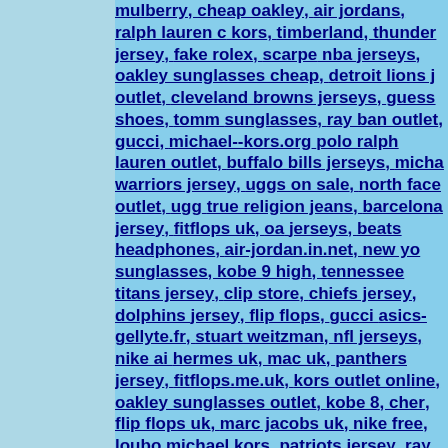mulberry, cheap oakley, air jordans, ralph lauren c kors, timberland, thunder jersey, fake rolex, scarpe nba jerseys, oakley sunglasses cheap, detroit lions j outlet, cleveland browns jerseys, guess shoes, tomm sunglasses, ray ban outlet, gucci, michael--kors.org polo ralph lauren outlet, buffalo bills jerseys, micha warriors jersey, uggs on sale, north face outlet, ugg true religion jeans, barcelona jersey, fitflops uk, oa jerseys, beats headphones, air-jordan.in.net, new yo sunglasses, kobe 9 high, tennessee titans jersey, clip store, chiefs jersey, dolphins jersey, flip flops, gucci asics-gellyte.fr, stuart weitzman, nfl jerseys, nike ai hermes uk, mac uk, panthers jersey, fitflops.me.uk, kors outlet online, oakley sunglasses outlet, kobe 8, cher, flip flops uk, marc jacobs uk, nike free, loubo michael kors, patriots jersey, ray ban sunglasses, g uk, fake oakleys, burberry, tiffany and co, adidas s jordan, nike--huarache.fr, michael kors uk, loubou raiders jersey, burberry-outlet-online.it, lebron sho saints jerseys, mont blanc, nike roshe run, reebok s cheapeyeglasses.in.net, salomon shoes, jimmy choo outlet, replica watches, bills jerseys, hollister, chan michael kors canada, lunette oakley, jerseys, nike a louboutin, green bay packers jerseys, louboutin sho orologi-rolex.it, ugg boots clearance, hermes belt, w gioielli.it, tommy-hilfiger.us.com, seahawks jerseys